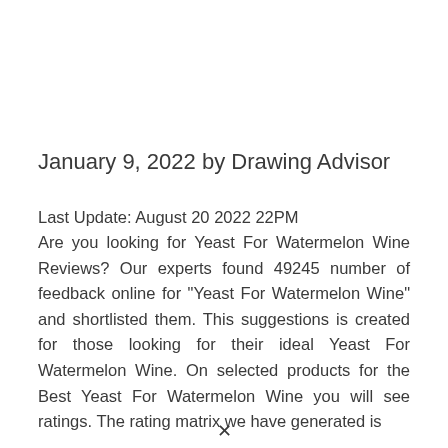January 9, 2022 by Drawing Advisor
Last Update: August 20 2022 22PM
Are you looking for Yeast For Watermelon Wine Reviews? Our experts found 49245 number of feedback online for "Yeast For Watermelon Wine" and shortlisted them. This suggestions is created for those looking for their ideal Yeast For Watermelon Wine. On selected products for the Best Yeast For Watermelon Wine you will see ratings. The rating matrix we have generated is